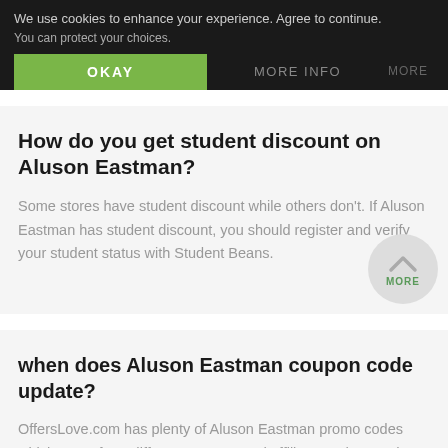We use cookies to enhance your experience. Agree to continue. You can protect your choices.
OKAY
MORE INFO
MORE
How do you get student discount on Aluson Eastman?
Some stores have student discount while others don't. If Aluson Eastman has student discount, you should register and verify your student status with Student Beans.
when does Aluson Eastman coupon code update?
OffersLove.com has plenty of Aluson Eastman promo codes which come from different sources and affiliate, and we update Aluson Eastman coupon codes daily.
MORE